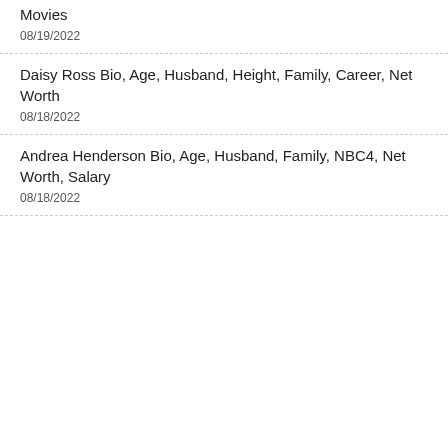Movies
08/19/2022
Daisy Ross Bio, Age, Husband, Height, Family, Career, Net Worth
08/18/2022
Andrea Henderson Bio, Age, Husband, Family, NBC4, Net Worth, Salary
08/18/2022